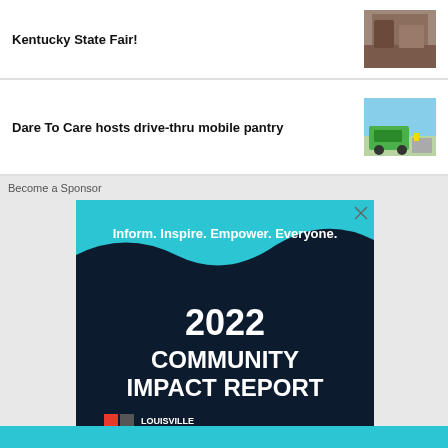Kentucky State Fair!
[Figure (photo): Thumbnail image related to Kentucky State Fair]
Dare To Care hosts drive-thru mobile pantry
[Figure (photo): Thumbnail image showing a green truck and workers for Dare To Care mobile pantry]
Become a Sponsor
[Figure (infographic): Louisville Public Media 2022 Community Impact Report advertisement banner. Text: Inform. Inspire. Empower. Everyone. 2022 COMMUNITY IMPACT REPORT. Louisville Public Media logo.]